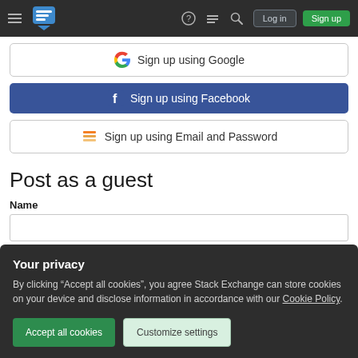Stack Exchange navigation bar with hamburger menu, logo, help, chat, search icons, Log in and Sign up buttons
[Figure (screenshot): Sign up using Google button - white button with Google G logo]
[Figure (screenshot): Sign up using Facebook button - blue button with Facebook logo]
[Figure (screenshot): Sign up using Email and Password button - white button with Stack Exchange logo]
Post as a guest
Name
Email
Your privacy
By clicking "Accept all cookies", you agree Stack Exchange can store cookies on your device and disclose information in accordance with our Cookie Policy.
Accept all cookies
Customize settings